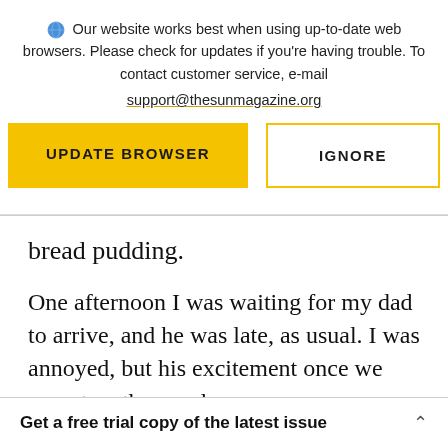Our website works best when using up-to-date web browsers. Please check for updates if you're having trouble. To contact customer service, e-mail support@thesunmagazine.org
[Figure (infographic): Two buttons: a yellow filled button labeled UPDATE BROWSER and a yellow-outlined button labeled IGNORE]
bread pudding.
One afternoon I was waiting for my dad to arrive, and he was late, as usual. I was annoyed, but his excitement once we were together made
Get a free trial copy of the latest issue